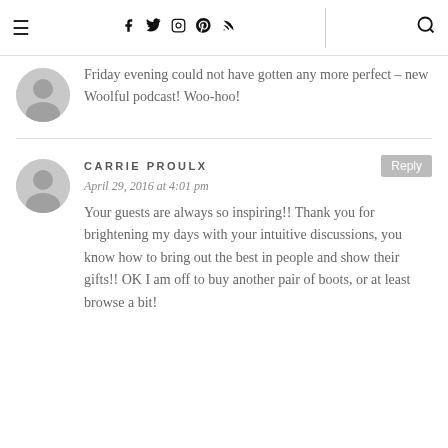≡  [social icons: facebook, twitter, instagram, pinterest, rss]  [search]
Friday evening could not have gotten any more perfect – new Woolful podcast! Woo-hoo!
CARRIE PROULX
April 29, 2016 at 4:01 pm
Your guests are always so inspiring!! Thank you for brightening my days with your intuitive discussions, you know how to bring out the best in people and show their gifts!! OK I am off to buy another pair of boots, or at least browse a bit!